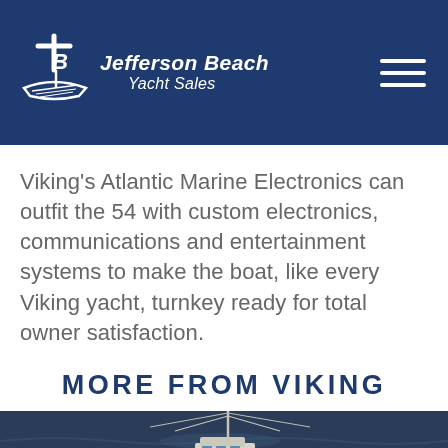Jefferson Beach Yacht Sales
Viking's Atlantic Marine Electronics can outfit the 54 with custom electronics, communications and entertainment systems to make the boat, like every Viking yacht, turnkey ready for total owner satisfaction.
MORE FROM VIKING
[Figure (photo): Partial photo of a boat on dark ocean water, visible mast and outriggers against a blue-grey sea background.]